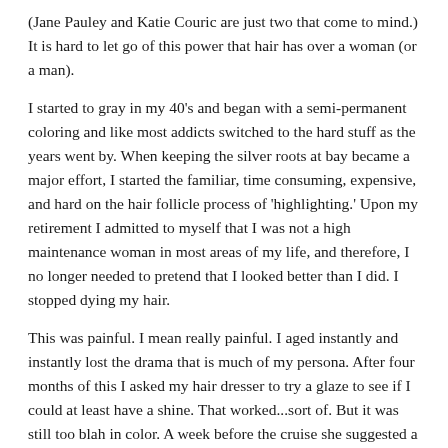(Jane Pauley and Katie Couric are just two that come to mind.) It is hard to let go of this power that hair has over a woman (or a man).
I started to gray in my 40's and began with a semi-permanent coloring and like most addicts switched to the hard stuff as the years went by. When keeping the silver roots at bay became a major effort, I started the familiar, time consuming, expensive, and hard on the hair follicle process of 'highlighting.' Upon my retirement I admitted to myself that I was not a high maintenance woman in most areas of my life, and therefore, I no longer needed to pretend that I looked better than I did. I stopped dying my hair.
This was painful. I mean really painful. I aged instantly and instantly lost the drama that is much of my persona. After four months of this I asked my hair dresser to try a glaze to see if I could at least have a shine. That worked...sort of. But it was still too blah in color. A week before the cruise she suggested a temporary charcoal rinse that would blend everything and covered the highlighted ends. This worked, because I was gently gray and had drama once again. But the rinse slowly washed out and my true gray returned, and as a last resort, I went in and asked for a pixie haircut. Something perky, spiky, flirty and young. That